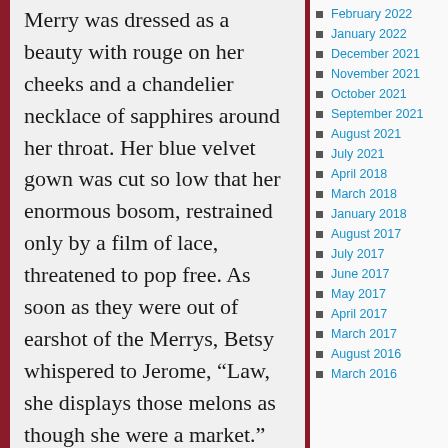Merry was dressed as a beauty with rouge on her cheeks and a chandelier necklace of sapphires around her throat. Her blue velvet gown was cut so low that her enormous bosom, restrained only by a film of lace, threatened to pop free. As soon as they were out of earshot of the Merrys, Betsy whispered to Jerome, “Law, she displays those melons as though she were a market.”
February 2022
January 2022
December 2021
November 2021
October 2021
September 2021
August 2021
July 2021
April 2018
March 2018
January 2018
August 2017
July 2017
June 2017
May 2017
April 2017
March 2017
August 2016
March 2016